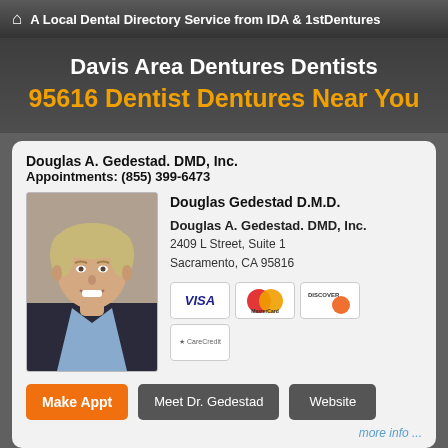A Local Dental Directory Service from IDA & 1stDentures
Davis Area Dentures Dentists
95616 Dentist Dentures Near You
Douglas A. Gedestad. DMD, Inc.
Appointments: (855) 399-6473
[Figure (photo): Headshot photo of Dr. Douglas Gedestad, a smiling middle-aged man with light hair, wearing a dark jacket and light blue shirt]
Douglas Gedestad D.M.D.

Douglas A. Gedestad. DMD, Inc.
2409 L Street, Suite 1
Sacramento, CA 95816
[Figure (other): Payment method icons: VISA, MasterCard, Discover, CareCredit]
Make Appt   Meet Dr. Gedestad   Website
more info ...